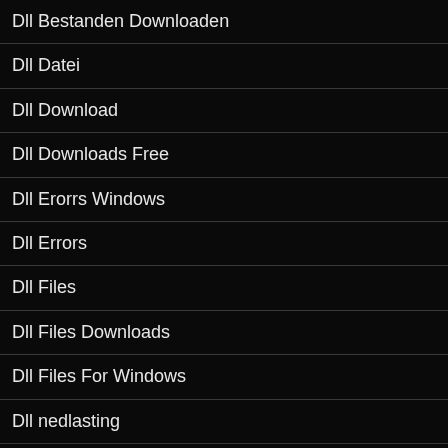Dll Bestanden Downloaden
Dll Datei
Dll Download
Dll Downloads Free
Dll Erorrs Windows
Dll Errors
Dll Files
Dll Files Downloads
Dll Files For Windows
Dll nedlasting
Dll sicuro
Dll-bestanden
Dll-Filer